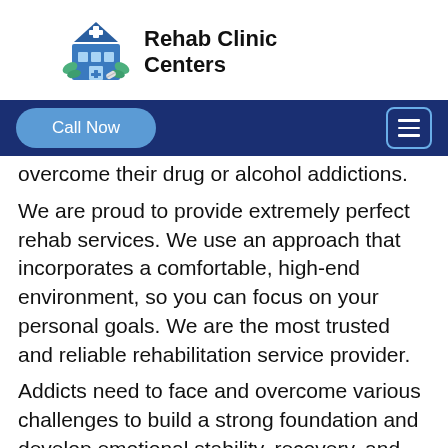[Figure (logo): Rehab Clinic Centers logo with a blue building/clinic illustration with a cross and leaves]
Rehab Clinic Centers
overcome their drug or alcohol addictions.
We are proud to provide extremely perfect rehab services. We use an approach that incorporates a comfortable, high-end environment, so you can focus on your personal goals. We are the most trusted and reliable rehabilitation service provider.
Addicts need to face and overcome various challenges to build a strong foundation and develop emotional stability, recovery, and maturity, and at Rehab Clinic Centers we help them to achieve the goals of their lives.